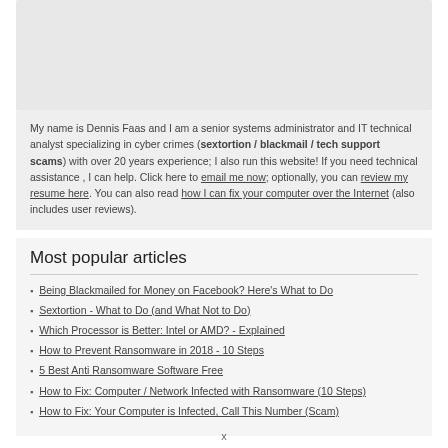[Figure (other): Gray placeholder image area at top of bio box]
My name is Dennis Faas and I am a senior systems administrator and IT technical analyst specializing in cyber crimes (sextortion / blackmail / tech support scams) with over 20 years experience; I also run this website! If you need technical assistance , I can help. Click here to email me now; optionally, you can review my resume here. You can also read how I can fix your computer over the Internet (also includes user reviews).
Most popular articles
Being Blackmailed for Money on Facebook? Here's What to Do
Sextortion - What to Do (and What Not to Do)
Which Processor is Better: Intel or AMD? - Explained
How to Prevent Ransomware in 2018 - 10 Steps
5 Best Anti Ransomware Software Free
How to Fix: Computer / Network Infected with Ransomware (10 Steps)
How to Fix: Your Computer is Infected, Call This Number (Scam)
x